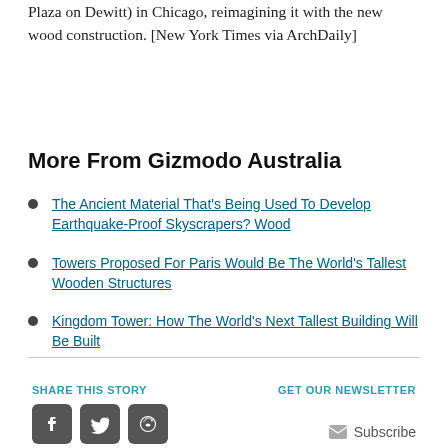Plaza on Dewitt) in Chicago, reimagining it with the new wood construction. [New York Times via ArchDaily]
More From Gizmodo Australia
The Ancient Material That's Being Used To Develop Earthquake-Proof Skyscrapers? Wood
Towers Proposed For Paris Would Be The World's Tallest Wooden Structures
Kingdom Tower: How The World's Next Tallest Building Will Be Built
Why The White House Is Spending Millions To Promote Wood Skyscrapers
SHARE THIS STORY   GET OUR NEWSLETTER   Subscribe